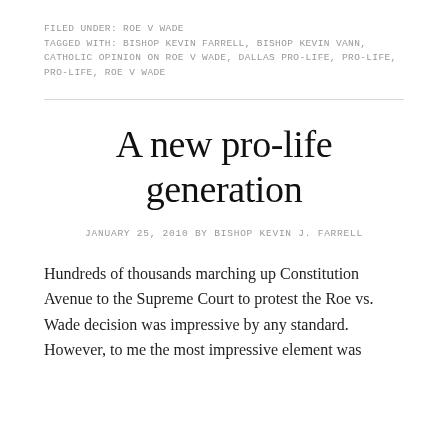FILED UNDER: ROE V WADE
TAGGED WITH: BISHOP KEVIN FARRELL, BISHOP KEVIN VANN, CATHOLIC OPINION ON ROE V WADE, DALLAS PRO-LIFE, PRO-LIFE, PRO-LIFE, ROE V WADE
A new pro-life generation
JANUARY 25, 2010 BY BISHOP KEVIN J. FARRELL
Hundreds of thousands marching up Constitution Avenue to the Supreme Court to protest the Roe vs. Wade decision was impressive by any standard. However, to me the most impressive element was